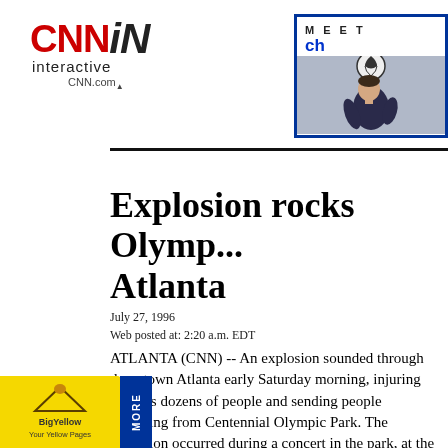[Figure (logo): CNN Interactive logo with CNN.com text]
[Figure (photo): Advertisement banner with person heading soccer ball, text MEET and ch in blue]
Explosion rocks Olymp... Atlanta
July 27, 1996
Web posted at: 2:20 a.m. EDT
ATLANTA (CNN) -- An explosion sounded through downtown Atlanta early Saturday morning, injuring perhaps dozens of people and sending people scattering from Centennial Olympic Park. The explosion occurred during a concert in the park, at the AT&T Global Village stage.
[Figure (logo): Big Yellow Your Yellow Pages advertisement logo in yellow box]
[Figure (other): Blue MORE vertical bar]